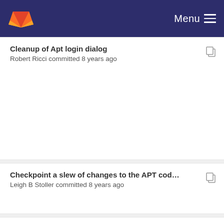Menu
Cleanup of Apt login dialog
Robert Ricci committed 8 years ago
Checkpoint a slew of changes to the APT code. Ne...
Leigh B Stoller committed 8 years ago
Add profile editing, deletion, and quick link to inst...
Leigh B Stoller committed 8 years ago
Bump copyright date
Robert Ricci committed 8 years ago